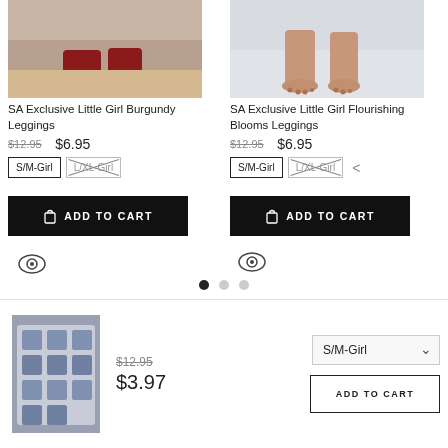[Figure (photo): Product photo of burgundy girl leggings, showing feet/ankles on wood floor]
SA Exclusive Little Girl Burgundy Leggings
$12.95 $6.95
S/M-Girl  L/XL-Girl (crossed out)
ADD TO CART
[Figure (photo): Product photo of flourishing blooms girl leggings, showing feet on grey background]
SA Exclusive Little Girl Flourishing Blooms Leggings
$12.95 $6.95
S/M-Girl  L/XL-Girl (crossed out)
ADD TO CART
[Figure (photo): Thumbnail of patterned leggings with robot/character print]
$12.95
$3.97
S/M-Girl (dropdown)
ADD TO CART